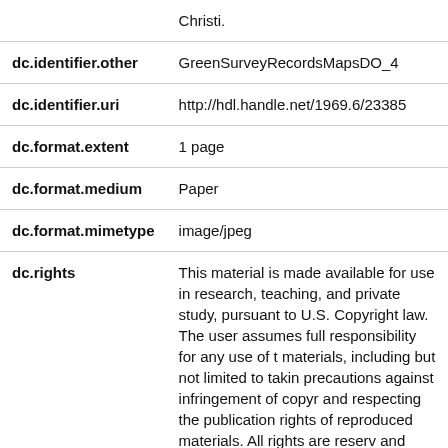| Field | Value |
| --- | --- |
|  | Christi. |
| dc.identifier.other | GreenSurveyRecordsMapsDO_4 |
| dc.identifier.uri | http://hdl.handle.net/1969.6/23385 |
| dc.format.extent | 1 page |
| dc.format.medium | Paper |
| dc.format.mimetype | image/jpeg |
| dc.rights | This material is made available for use in research, teaching, and private study, pursuant to U.S. Copyright law. The user assumes full responsibility for any use of the materials, including but not limited to taking precautions against infringement of copyright and respecting the publication rights of reproduced materials. All rights are reserved and retained regardless of current or future development or laws that may apply to fair use standards. Any materials used should be fully credited with their source according to... |